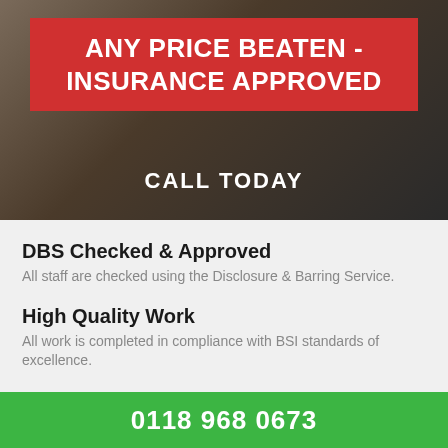[Figure (photo): Background photo of a person holding a door handle or lock, dark tones]
ANY PRICE BEATEN - INSURANCE APPROVED
CALL TODAY
DBS Checked & Approved
All staff are checked using the Disclosure & Barring Service.
High Quality Work
All work is completed in compliance with BSI standards of excellence.
0118 968 0673